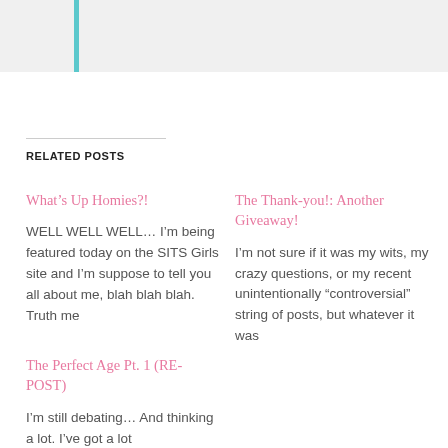RELATED POSTS
What’s Up Homies?!
WELL WELL WELL… I’m being featured today on the SITS Girls site and I’m suppose to tell you all about me, blah blah blah. Truth me
The Thank-you!: Another Giveaway!
I’m not sure if it was my wits, my crazy questions, or my recent unintentionally “controversial” string of posts, but whatever it was
The Perfect Age Pt. 1 (RE-POST)
I’m still debating… And thinking a lot. I’ve got a lot